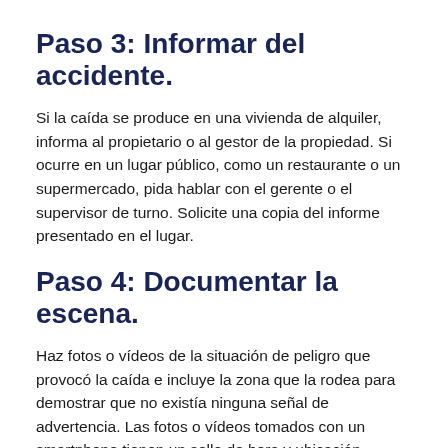Paso 3: Informar del accidente.
Si la caída se produce en una vivienda de alquiler, informa al propietario o al gestor de la propiedad. Si ocurre en un lugar público, como un restaurante o un supermercado, pida hablar con el gerente o el supervisor de turno. Solicite una copia del informe presentado en el lugar.
Paso 4: Documentar la escena.
Haz fotos o vídeos de la situación de peligro que provocó la caída e incluye la zona que la rodea para demostrar que no existía ninguna señal de advertencia. Las fotos o vídeos tomados con un smartphone tienen un sello de hora y ubicación